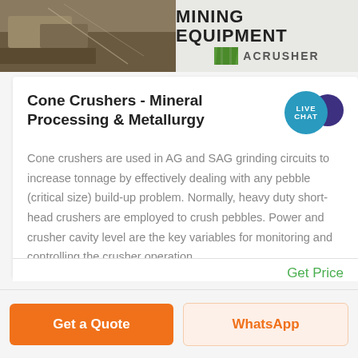[Figure (photo): Top banner image showing mining equipment and a crusher machine with the text 'MINING EQUIPMENT ACRUSHER' on a light background with green logo stripes on the right side and a rocky/gravel scene on the left.]
Cone Crushers - Mineral Processing & Metallurgy
Cone crushers are used in AG and SAG grinding circuits to increase tonnage by effectively dealing with any pebble (critical size) build-up problem. Normally, heavy duty short-head crushers are employed to crush pebbles. Power and crusher cavity level are the key variables for monitoring and controlling the crusher operation.
Get Price
Get a Quote
WhatsApp